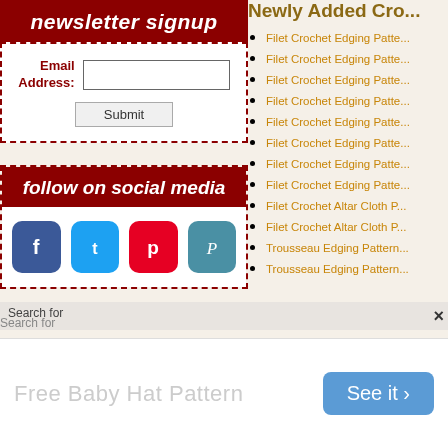newsletter signup
Email Address: [input field] Submit
follow on social media
[Figure (infographic): Social media icons: Facebook, Twitter, Pinterest, Plurk]
Newly Added Cro...
Filet Crochet Edging Patte...
Filet Crochet Edging Patte...
Filet Crochet Edging Patte...
Filet Crochet Edging Patte...
Filet Crochet Edging Patte...
Filet Crochet Edging Patte...
Filet Crochet Edging Patte...
Filet Crochet Edging Patte...
Filet Crochet Altar Cloth P...
Filet Crochet Altar Cloth P...
Trousseau Edging Pattern...
Trousseau Edging Pattern...
Search for
Search for
[Figure (infographic): Advertisement: Free Baby Hat Pattern - See it button]